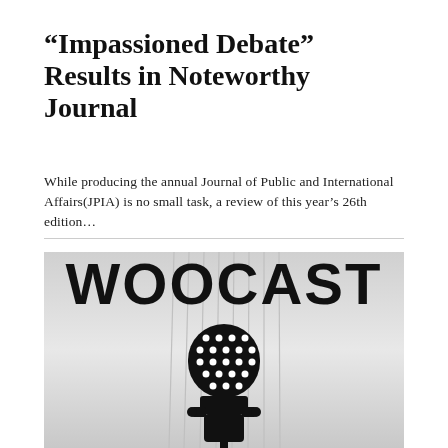“Impassioned Debate” Results in Noteworthy Journal
While producing the annual Journal of Public and International Affairs​(JPIA) is no small task, a review of this year’s 26th edition…
[Figure (illustration): Woocast podcast logo: large bold text 'WOOCAST' at top with a vintage microphone icon below on a light grey gradient background with vertical lines.]